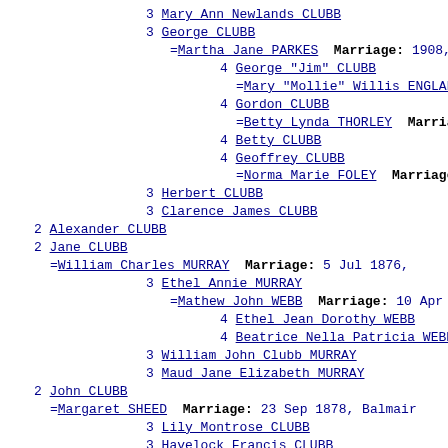3 Mary Ann Newlands CLUBB
3 George CLUBB
=Martha Jane PARKES  Marriage: 1908, Sy
4 George "Jim" CLUBB
=Mary "Mollie" Willis ENGLAND
4 Gordon CLUBB
=Betty Lynda THORLEY  Marriage
4 Betty CLUBB
4 Geoffrey CLUBB
=Norma Marie FOLEY  Marriage: 1
3 Herbert CLUBB
3 Clarence James CLUBB
2 Alexander CLUBB
2 Jane CLUBB
=William Charles MURRAY  Marriage: 5 Jul 1876,
3 Ethel Annie MURRAY
=Mathew John WEBB  Marriage: 10 Apr 190
4 Ethel Jean Dorothy WEBB
4 Beatrice Nella Patricia WEBB
3 William John Clubb MURRAY
3 Maud Jane Elizabeth MURRAY
2 John CLUBB
=Margaret SHEED  Marriage: 23 Sep 1878, Balmair
3 Lily Montrose CLUBB
3 Havelock Francis CLUBB
=Mary CHEESMAN  Marriage: 1909, Sydney,
3 Amy Constance N. CLUBB
=Harold John William BRIGHT  Marriage:
=Olof Victor CARLSON  Marriage: 1921, S
4 Stillborn CARLSON